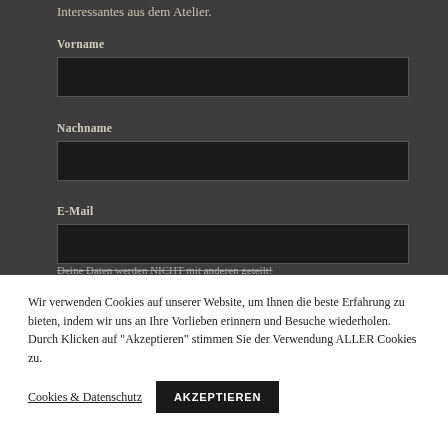Interessantes aus dem Atelier.
Vorname
Nachname
E-Mail
Deine Daten werden NICHT mit anderen geteilt!
Wir verwenden Cookies auf unserer Website, um Ihnen die beste Erfahrung zu bieten, indem wir uns an Ihre Vorlieben erinnern und Besuche wiederholen. Durch Klicken auf "Akzeptieren" stimmen Sie der Verwendung ALLER Cookies zu.
Cookies & Datenschutz
AKZEPTIEREN